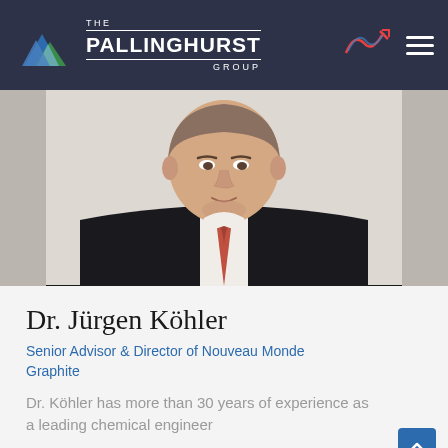THE PALLINGHURST GROUP
[Figure (photo): Professional headshot of Dr. Jürgen Köhler, a man in a dark suit and red tie, cropped from shoulders up, light background]
Dr. Jürgen Köhler
Senior Advisor & Director of Nouveau Monde Graphite
Dr. Köhler has more than 30 years of experience as a leading chemical engineer